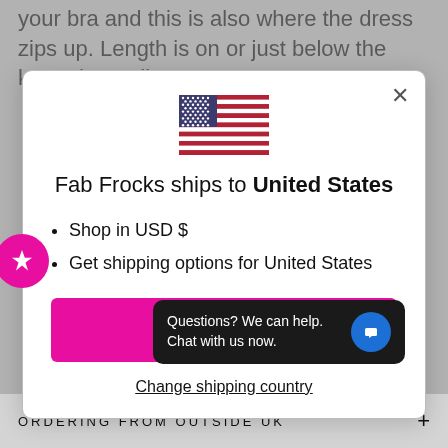your bra and this is also where the dress zips up. Length is on or just below the knee depending on
[Figure (screenshot): Modal dialog popup on a shopping website. Shows US flag, text 'Fab Frocks ships to United States', bullet points 'Shop in USD $' and 'Get shipping options for United States', a magenta 'Shop now' button, and a 'Change shipping country' link. A chat popup says 'Questions? We can help. Chat with us now.']
ORDERING FROM OUTSIDE UK